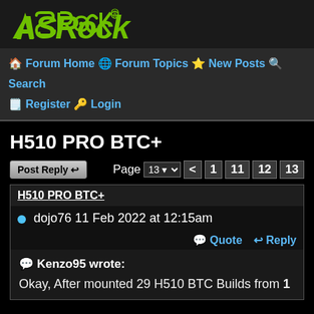[Figure (logo): ASRock logo in green on dark background]
🏠 Forum Home 🌐 Forum Topics ⭐ New Posts 🔍 Search 📋 Register 🔑 Login
H510 PRO BTC+
Post Reply | Page 13 < 1 11 12 13
H510 PRO BTC+
dojo76 11 Feb 2022 at 12:15am
💬 Quote ↩ Reply
💬 Kenzo95 wrote:

Okay, After mounted 29 H510 BTC Builds from 1